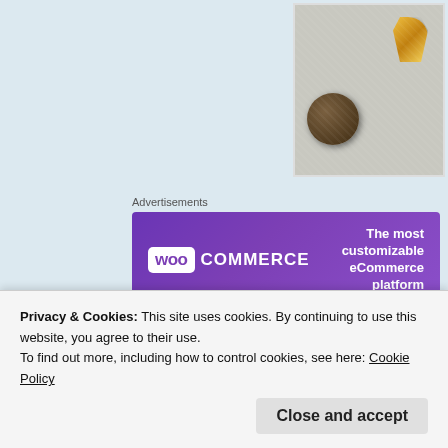[Figure (photo): Photo of two medals (one dark/bronze circular medal and one gold decorative charm) on a light textured background, positioned in top-right corner]
Advertisements
[Figure (logo): WooCommerce advertisement banner — purple background with WooCommerce logo on left and tagline 'The most customizable eCommerce platform' on right]
“You’re a runner; you can do this! No.  It hurts. I’m a sprinter, not a marathoner. I can’t breathe. Yes, you
Privacy & Cookies: This site uses cookies. By continuing to use this website, you agree to their use.
To find out more, including how to control cookies, see here: Cookie Policy
Close and accept